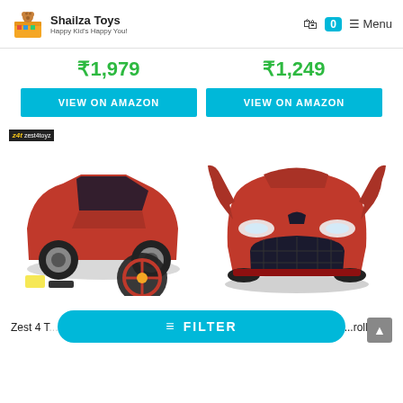Shailza Toys - Happy Kid's Happy You!
₹1,979
₹1,249
VIEW ON AMAZON
VIEW ON AMAZON
[Figure (photo): Red RC sports car toy with steering wheel controller and accessories, zest4toyz branded]
[Figure (photo): Red RC Ferrari LaFerrari toy car with open doors, front view]
Zest 4 T... ...rolled Si
≡ FILTER